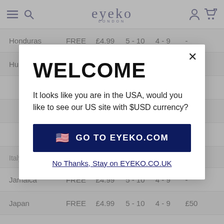eyeko LONDON
| Country | Standard | Express | Standard (days) | Express (days) | Free threshold |
| --- | --- | --- | --- | --- | --- |
| Honduras | FREE | £4.99 | 5 - 10 | 4 - 9 | - |
| Hungary | FREE | £2.99 | 5 - 10 | 2 - 4 | £45 |
| Italy | FREE | £2.99 | 5 - 10 | 2 - 4 | £15 |
| Jamaica | FREE | £4.99 | 5 - 10 | 4 - 9 | - |
| Japan | FREE | £4.99 | 5 - 10 | 4 - 9 | £50 |
| Jersey | FREE | £4.99 | 5 - 10 | 4 - 9 |  |
WELCOME
It looks like you are in the USA, would you like to see our US site with $USD currency?
GO TO EYEKO.COM
No Thanks, Stay on EYEKO.CO.UK